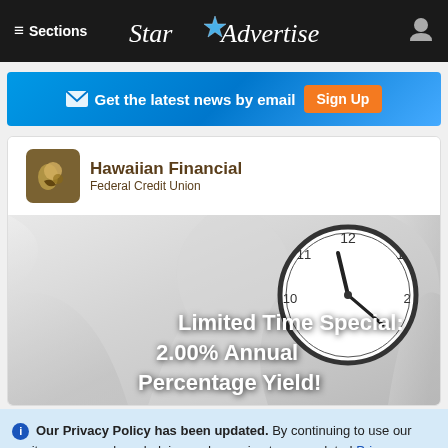≡ Sections  Star Advertiser
Get the latest news by email  Sign Up
[Figure (logo): Hawaiian Financial Federal Credit Union logo with brown square icon and text]
[Figure (photo): Clock with fabric background and overlay text: Limited Time Special: 2.00% Annual Percentage Yield!]
Our Privacy Policy has been updated. By continuing to use our site, you are acknowledging and agreeing to our updated Privacy Policy and our Terms of Service. I Agree